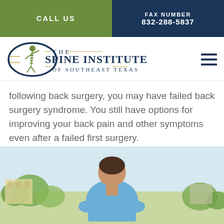CALL US | FAX NUMBER 832-288-5837
[Figure (logo): The Spine Institute of Southeast Texas logo with stylized spine figure and oval shape]
following back surgery, you may have failed back surgery syndrome. You still have options for improving your back pain and other symptoms even after a failed first surgery.
[Figure (photo): Man in blue t-shirt seen from behind, hands on lower back, standing outdoors with trees and buildings in background]